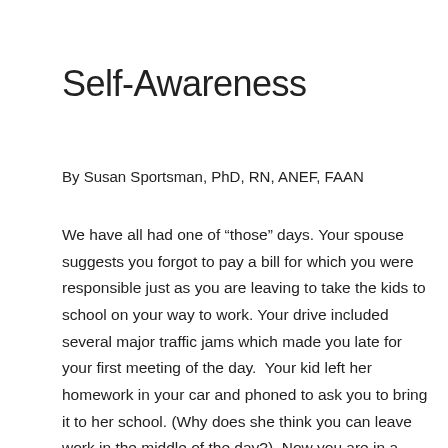Self-Awareness
By Susan Sportsman, PhD, RN, ANEF, FAAN
We have all had one of “those” days. Your spouse suggests you forgot to pay a bill for which you were responsible just as you are leaving to take the kids to school on your way to work. Your drive included several major traffic jams which made you late for your first meeting of the day.  Your kid left her homework in your car and phoned to ask you to bring it to her school. (Why does she think you can leave work in the middle of the day?)  Now you are in a planning meeting and your team is resistant to a new idea that you believe